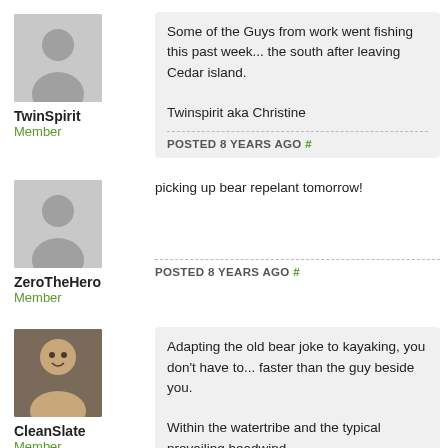[Figure (illustration): Grey silhouette avatar placeholder]
TwinSpirit
Member
Some of the Guys from work went fishing this past week... the south after leaving Cedar island.

Twinspirit aka Christine
POSTED 8 YEARS AGO #
[Figure (illustration): Grey silhouette avatar placeholder]
ZeroTheHero
Member
picking up bear repelant tomorrow!
POSTED 8 YEARS AGO #
[Figure (photo): Photo of a man, CleanSlate user avatar]
CleanSlate
Member
Adapting the old bear joke to kayaking, you don't have to... faster than the guy beside you.

Within the watertribe and the typical prevailing headwind...
POSTED 8 YEARS AGO #
[Figure (illustration): Grey silhouette avatar placeholder]
Black bears hardly ever attack people but they're always... your kayak or boat is not a good idea, because they'll te...